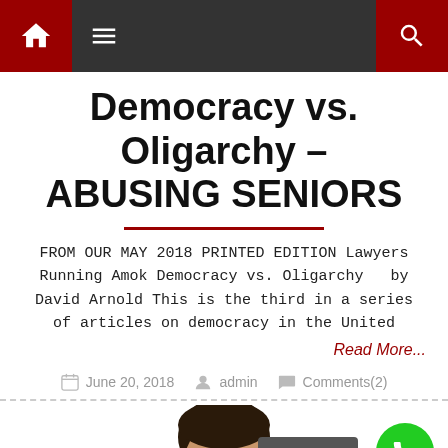Navigation bar with home icon, menu icon, and search icon
Democracy vs. Oligarchy – ABUSING SENIORS
FROM OUR MAY 2018 PRINTED EDITION Lawyers Running Amok Democracy vs. Oligarchy   by David Arnold This is the third in a series of articles on democracy in the United
Read More...
June 20, 2018   admin   Comments(2)
[Figure (photo): Partial face of a smiling man, cropped at bottom of page]
Subscribe
[Figure (illustration): Green circle with white phone icon (call button)]
Terms